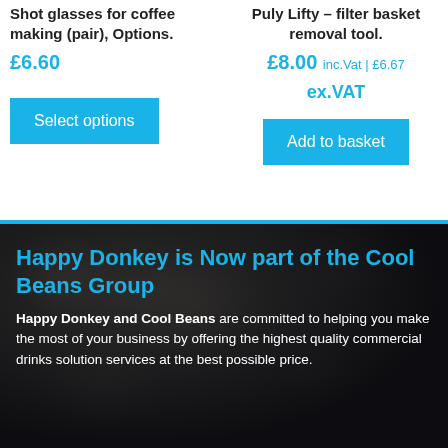Shot glasses for coffee making (pair), Options.
£6.60
Select options
Puly Lifty – filter basket removal tool.
£8.00 inc.Vat | £6.67 ex.VAT
Add to basket
Happy Donkey is Now part of the Cool Beans Group
Happy Donkey and Cool Beans are committed to helping you make the most of your business by offering the highest quality commercial drinks solution services at the best possible price.